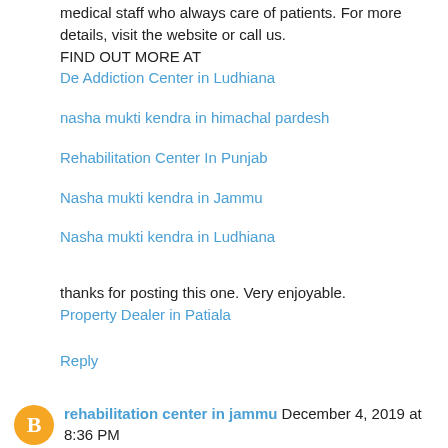medical staff who always care of patients. For more details, visit the website or call us.
FIND OUT MORE AT
De Addiction Center in Ludhiana
nasha mukti kendra in himachal pardesh
Rehabilitation Center In Punjab
Nasha mukti kendra in Jammu
Nasha mukti kendra in Ludhiana
thanks for posting this one. Very enjoyable.
Property Dealer in Patiala
Reply
rehabilitation center in jammu December 4, 2019 at 8:36 PM